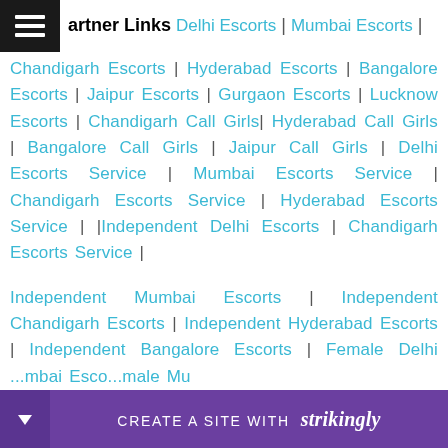artner Links Delhi Escorts | Mumbai Escorts | Chandigarh Escorts | Hyderabad Escorts | Bangalore Escorts | Jaipur Escorts | Gurgaon Escorts | Lucknow Escorts | Chandigarh Call Girls | Hyderabad Call Girls | Bangalore Call Girls | Jaipur Call Girls | Delhi Escorts Service | Mumbai Escorts Service | Chandigarh Escorts Service | Hyderabad Escorts Service | |Independent Delhi Escorts | Chandigarh Escorts Service |
Independent Mumbai Escorts | Independent Chandigarh Escorts | Independent Hyderabad Escorts | Independent Bangalore Escorts | Female Delhi Escorts | Mumbai Escorts Service | Female Mumbai Escorts
[Figure (other): Strikingly website builder promotional bar with purple background, down arrow, 'CREATE A SITE WITH strikingly' text]